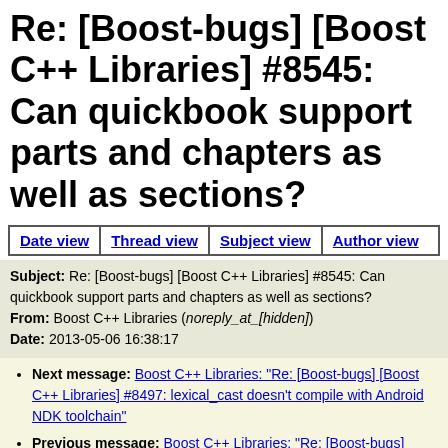Re: [Boost-bugs] [Boost C++ Libraries] #8545: Can quickbook support parts and chapters as well as sections?
Date view | Thread view | Subject view | Author view
Subject: Re: [Boost-bugs] [Boost C++ Libraries] #8545: Can quickbook support parts and chapters as well as sections?
From: Boost C++ Libraries (noreply_at_[hidden])
Date: 2013-05-06 16:38:17
Next message: Boost C++ Libraries: "Re: [Boost-bugs] [Boost C++ Libraries] #8497: lexical_cast doesn't compile with Android NDK toolchain"
Previous message: Boost C++ Libraries: "Re: [Boost-bugs] [Boost C++ Libraries] #8545: Can quickbook support parts and chapters as well as sections?"
In reply to: Boost C++ Libraries: "[Boost-bugs] [Boost C++